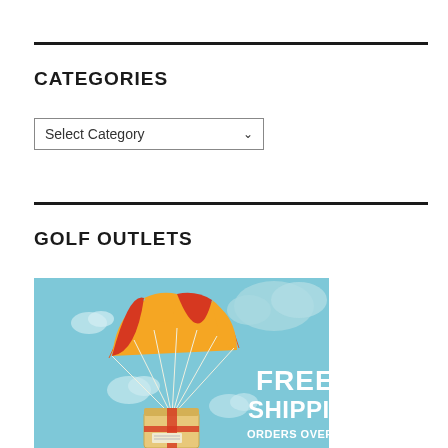CATEGORIES
[Figure (screenshot): A dropdown select box labeled 'Select Category' with a chevron arrow on the right]
GOLF OUTLETS
[Figure (illustration): A free shipping promotional banner showing a parachute carrying a cardboard package on a light blue sky background with clouds. Text reads 'FREE SHIPPING ORDERS OVER $75']